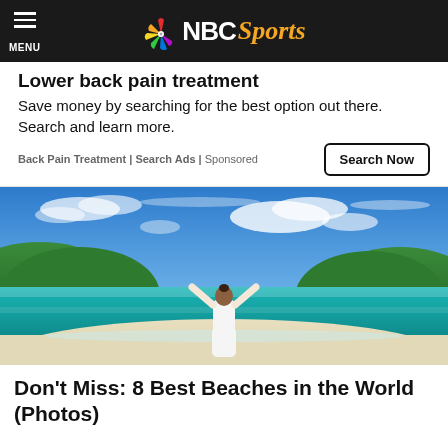NBC Sports
Lower back pain treatment
Save money by searching for the best option out there. Search and learn more.
Back Pain Treatment | Search Ads | Sponsored
[Figure (photo): Woman in white standing on a tropical beach with arms raised, turquoise water, green hills, and blue sky with clouds in the background.]
Don't Miss: 8 Best Beaches in the World (Photos)